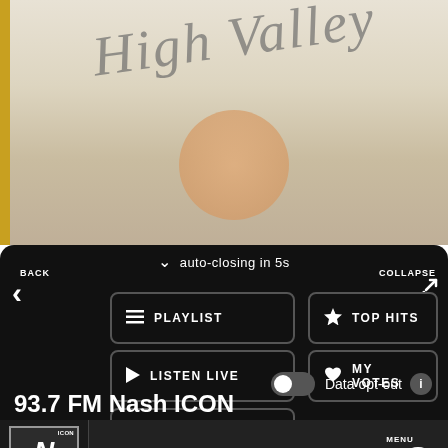[Figure (screenshot): Album art for High Valley showing cursive text 'High Valley' over a misty beige/cream background with a peach-colored sun/circle, bordered by gold/yellow on sides]
auto-closing in 5s
BACK
COLLAPSE
PLAYLIST
TOP HITS
LISTEN LIVE
MY VOTES
CONTROLS
Data opt-out
93.7 FM Nash ICON
93.7 FM Nash ICON
MENU